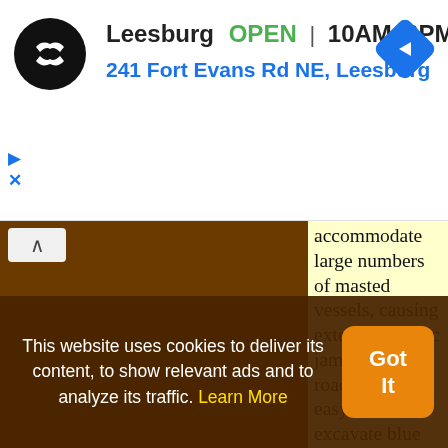Leesburg  OPEN  10AM–9PM
241 Fort Evans Rd NE, Leesburg
[Figure (screenshot): Map navigation screenshot with brown map background, yellow article panel, cookie consent banner overlay, and store info header showing Leesburg OPEN 10AM-9PM]
accommodate large numbers of masted vessels, causing extensive traffic jams on the roads. With easy-to-excavate blue clay underlying the city, a tunnel was possible. Work began 30 Nov 1866. In July 1867, the city awarded a contract to J. Lake to construct the 1605-ft long
This website uses cookies to deliver its content, to show relevant ads and to analyze its traffic. Learn More
Got It